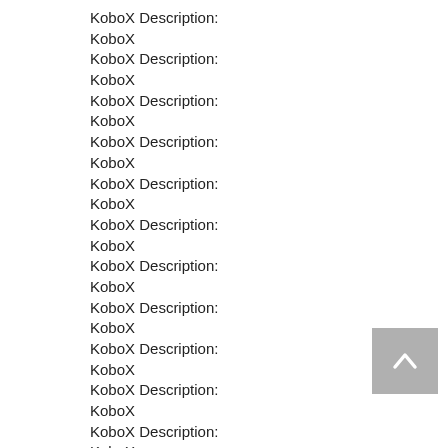KoboX Description:
KoboX
KoboX Description:
KoboX
KoboX Description:
KoboX
KoboX Description:
KoboX
KoboX Description:
KoboX
KoboX Description:
KoboX
KoboX Description:
KoboX
KoboX Description:
KoboX
KoboX Description:
KoboX
KoboX Description:
KoboX
KoboX Description:
KoboX